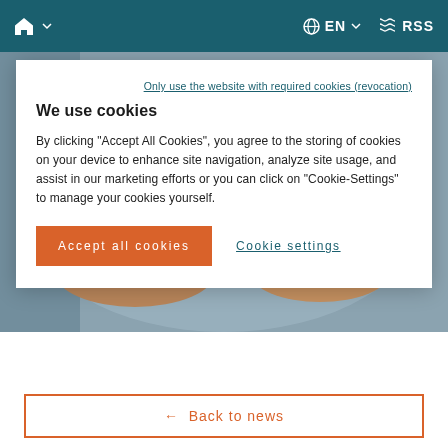Home  EN  RSS
Only use the website with required cookies (revocation)
We use cookies
By clicking "Accept All Cookies", you agree to the storing of cookies on your device to enhance site navigation, analyze site usage, and assist in our marketing efforts or you can click on "Cookie-Settings" to manage your cookies yourself.
Accept all cookies
Cookie settings
[Figure (photo): Person holding a tablet displaying financial charts including a donut chart and bar charts]
← Back to news